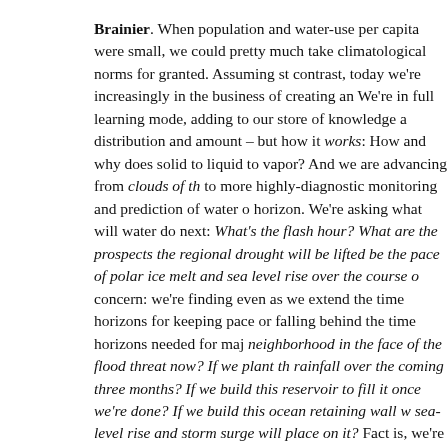Brainier. When population and water-use per capita were small, we could pretty much take climatological norms for granted. Assuming stationarity. By contrast, today we're increasingly in the business of creating and using forecasts. We're in full learning mode, adding to our store of knowledge about not just water distribution and amount – but how it works: How and why does water transition from solid to liquid to vapor? And we are advancing from clouds of the past and present, to more highly-diagnostic monitoring and prediction of water on the immediate horizon. We're asking what will water do next: What's the flash flood risk this hour? What are the prospects the regional drought will be lifted? What will be the pace of polar ice melt and sea level rise over the course of this century? A concern: we're finding even as we extend the time horizons for our forecasts, we're keeping pace or falling behind the time horizons needed for major decisions. Do I buy neighborhood in the face of the flood threat now? If we plant this crop, will there be rainfall over the coming three months? If we build this reservoir, will there be water to fill it once we're done? If we build this ocean retaining wall what stresses will sea-level rise and storm surge will place on it? Fact is, we're making decisions on less than-adequate information. In some locations and for some decisions, our ability to improve our forecasts at the speed required to meet growing needs, and our improvements are barely keeping pace. But in some instances